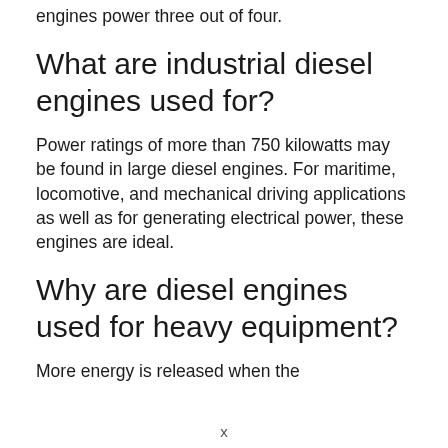engines power three out of four.
What are industrial diesel engines used for?
Power ratings of more than 750 kilowatts may be found in large diesel engines. For maritime, locomotive, and mechanical driving applications as well as for generating electrical power, these engines are ideal.
Why are diesel engines used for heavy equipment?
More energy is released when the
x